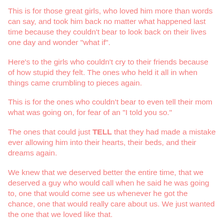This is for those great girls, who loved him more than words can say, and took him back no matter what happened last time because they couldn't bear to look back on their lives one day and wonder "what if".
Here's to the girls who couldn't cry to their friends because of how stupid they felt. The ones who held it all in when things came crumbling to pieces again.
This is for the ones who couldn't bear to even tell their mom what was going on, for fear of an "I told you so."
The ones that could just TELL that they had made a mistake ever allowing him into their hearts, their beds, and their dreams again.
We knew that we deserved better the entire time, that we deserved a guy who would call when he said he was going to, one that would come see us whenever he got the chance, one that would really care about us. We just wanted the one that we loved like that.